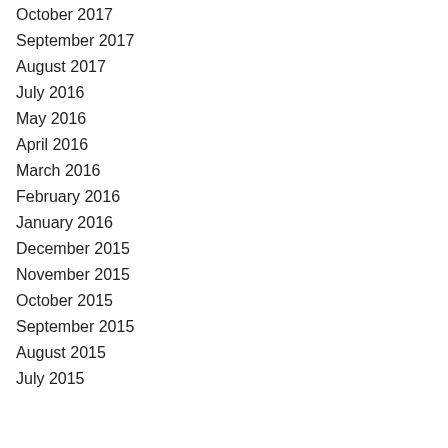October 2017
September 2017
August 2017
July 2016
May 2016
April 2016
March 2016
February 2016
January 2016
December 2015
November 2015
October 2015
September 2015
August 2015
July 2015